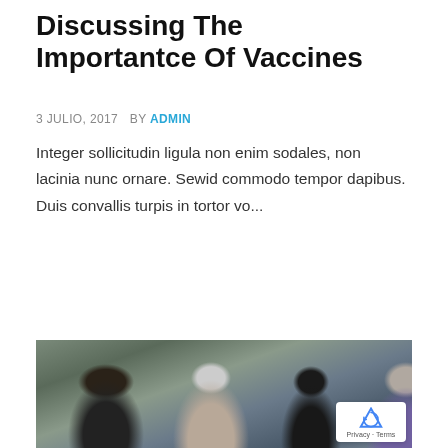Discussing The Importantce Of Vaccines
3 JULIO, 2017   BY ADMIN
Integer sollicitudin ligula non enim sodales, non lacinia nunc ornare. Sewid commodo tempor dapibus. Duis convallis turpis in tortor vo...
READ MORE
[Figure (photo): Group of people sitting in a circle in what appears to be a medical or community room, engaged in discussion. Five individuals are visible including a man in a striped shirt, a man in a black shirt, a man in a purple polo, and others.]